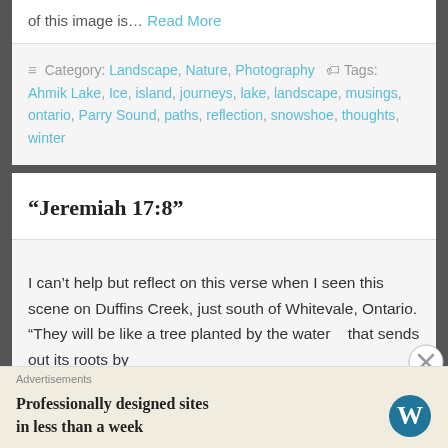of this image is… Read More
Category: Landscape, Nature, Photography  Tags: Ahmik Lake, Ice, island, journeys, lake, landscape, musings, ontario, Parry Sound, paths, reflection, snowshoe, thoughts, winter
“Jeremiah 17:8”
I can't help but reflect on this verse when I seen this scene on Duffins Creek, just south of Whitevale, Ontario. “They will be like a tree planted by the water    that sends out its roots by
Advertisements
Professionally designed sites in less than a week